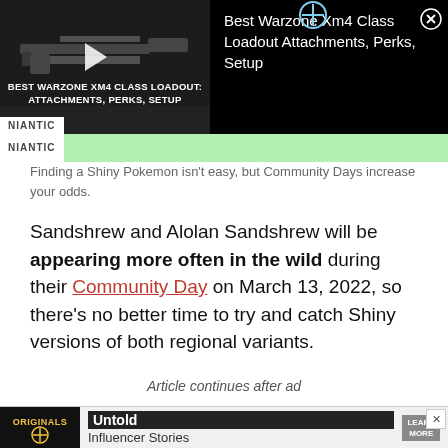[Figure (screenshot): Video ad thumbnail showing a rifle/gun image with text overlay 'BEST WARZONE XM4 CLASS LOADOUT: ATTACHMENTS, PERKS, SETUP' and NIANTIC branding, beside ad title 'Best Warzone Xm4 Class Loadout Attachments, Perks, Setup' with close button and crosshair icon. Below is a green Niantic banner strip.]
Finding a Shiny Pokemon isn't easy, but Community Days increase your odds.
Sandshrew and Alolan Sandshrew will be appearing more often in the wild during their Community Day on March 13, 2022, so there's no better time to try and catch Shiny versions of both regional variants.
Article continues after ad
[Figure (screenshot): Bottom advertisement banner for 'Originals - Untold Influencer Stories' with Learn More button and a close (X) button.]